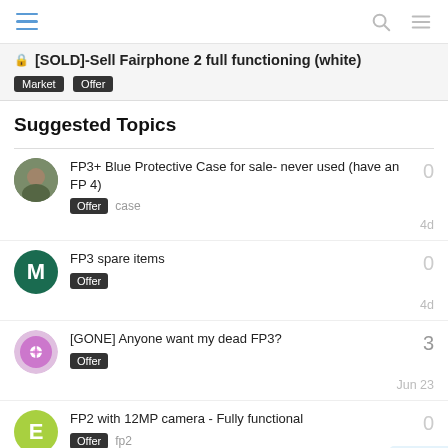[Navigation bar with hamburger, search, and menu icons]
[SOLD]-Sell Fairphone 2 full functioning (white)
Suggested Topics
FP3+ Blue Protective Case for sale- never used (have an FP 4) — Offer, case — 0 replies — 4d
FP3 spare items — Offer — 0 replies — 4d
[GONE] Anyone want my dead FP3? — Offer — 3 replies — Jun 23
FP2 with 12MP camera - Fully functional — Offer, fp2 — 0 replies — 6d
Used FP2 for sale, broken mic and sr...
7 / 9